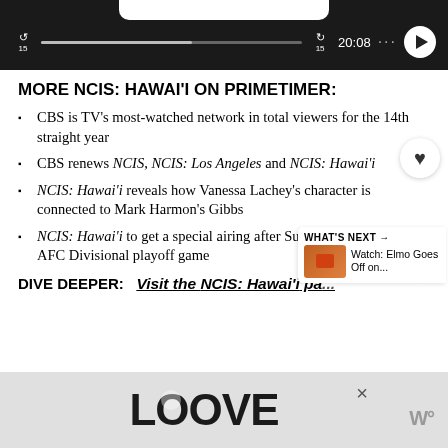[Figure (screenshot): Audio player with dark background, skip 15s back button, progress bar, 20:08 timestamp, more options dots, and play button]
MORE NCIS: HAWAI'I ON PRIMETIMER:
CBS is TV's most-watched network in total viewers for the 14th straight year
CBS renews NCIS, NCIS: Los Angeles and NCIS: Hawai'i
NCIS: Hawai'i reveals how Vanessa Lachey's character is connected to Mark Harmon's Gibbs
NCIS: Hawai'i to get a special airing after Sunday's NFL AFC Divisional playoff game
DIVE DEEPER:   Visit the NCIS: Hawai'i pa...
[Figure (screenshot): What's Next widget showing Watch: Elmo Goes Off on... with thumbnail]
[Figure (photo): LOVE decorative text logo advertisement at bottom of page]